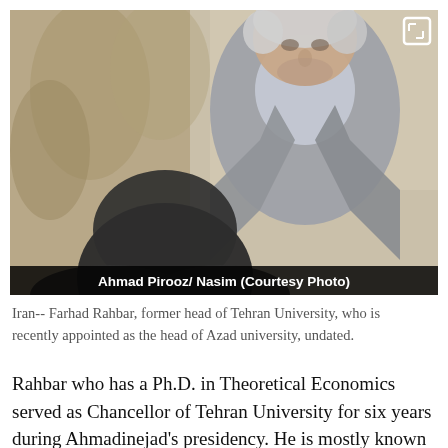[Figure (photo): A middle-aged man with white/gray hair wearing a light gray suit jacket and light blue shirt, photographed outdoors. In the foreground is the back of another person's head. A caption bar reads: Ahmad Pirooz/ Nasim (Courtesy Photo). A small expand icon is in the top-right corner.]
Iran-- Farhad Rahbar, former head of Tehran University, who is recently appointed as the head of Azad university, undated.
Rahbar who has a Ph.D. in Theoretical Economics served as Chancellor of Tehran University for six years during Ahmadinejad's presidency. He is mostly known for the harsh suppression of students and